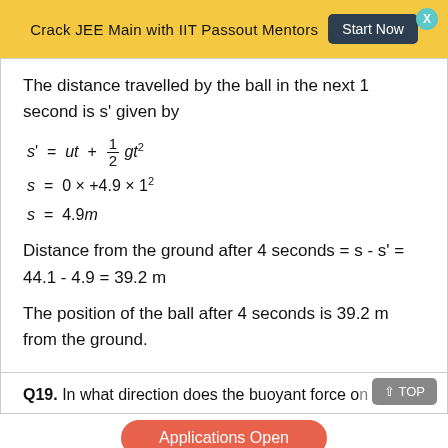Crack JEE Main with IIT Passout Mentors  Start Now
The distance travelled by the ball in the next 1 second is s' given by
Distance from the ground after 4 seconds = s - s' = 44.1 - 4.9 = 39.2 m
The position of the ball after 4 seconds is 39.2 m from the ground.
Q19. In what direction does the buoyant force on an